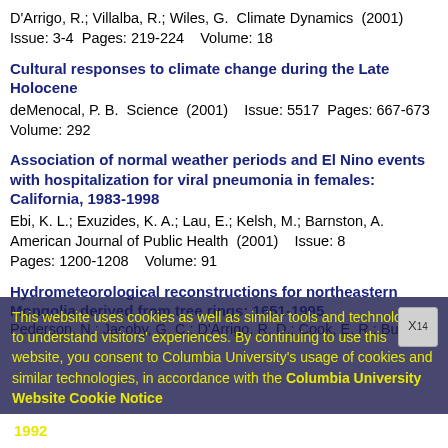D'Arrigo, R.; Villalba, R.; Wiles, G.  Climate Dynamics  (2001)
Issue: 3-4  Pages: 219-224    Volume: 18
Cultural responses to climate change during the Late Holocene
deMenocal, P. B.  Science  (2001)    Issue: 5517  Pages: 667-673  Volume: 292
Association of normal weather periods and El Nino events with hospitalization for viral pneumonia in females: California, 1983-1998
Ebi, K. L.; Exuzides, K. A.; Lau, E.; Kelsh, M.; Barnston, A.  American Journal of Public Health  (2001)    Issue: 8  Pages: 1200-1208    Volume: 91
Hydrometeorological reconstructions for northeastern Mongolia derived from tree rings: 1651-1995
Pederson, N.; Jacoby, G. C.; D'Arrigo, R. D.; Cook, E. R.; Buckley,
This website uses cookies as well as similar tools and technologies to understand visitors' experiences. By continuing to use this website, you consent to Columbia University's usage of cookies and similar technologies, in accordance with the Columbia University Website Cookie Notice
1992